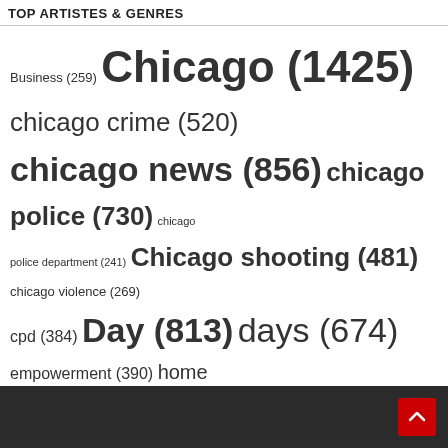TOP ARTISTES & GENRES
[Figure (infographic): Tag cloud showing top artistes and genres with word sizes proportional to counts. Tags include: Business (259), Chicago (1425), chicago crime (520), chicago news (856), chicago police (730), chicago police department (241), Chicago shooting (481), chicago violence (269), cpd (384), Day (813), days (674), empowerment (390), home (271), Job (237), killed (317), Living (227), Login (684), man (426), Manager (351), Metro (379), mlb (284), News (2165), Opportunities (591), Park (391), Part (250), people (256), Police (748), police department (297), position (534), Sales (272), San (344), Service (234), shooting (585), Shopping (246), shot (308), South (318), Sports (1151), States (1048), SUMMARY (452), team (344), Time (286), United (1052), Walmart (426), woman (224), You039ll (422)]